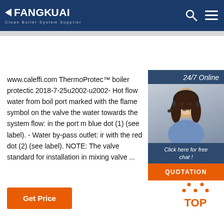FANGKUAI Clean Boiler System Supplier
[Figure (photo): Customer service woman with headset, 24/7 Online chat widget with QUOTATION button]
www.caleffi.com ThermoProtec™ boiler protection 2018-7-25u2002·u2002- Hot flow water from boiler: port marked with the flame symbol on the valve the water towards the system flow: in the port marked blue dot (1) (see label). - Water by-pass outlet: in the port marked with the red dot (2) (see label). NOTE: The valve standard for installation in mixing valve ...
[Figure (other): Orange TOP button with dotted triangle arrow pointing up]
Get Price